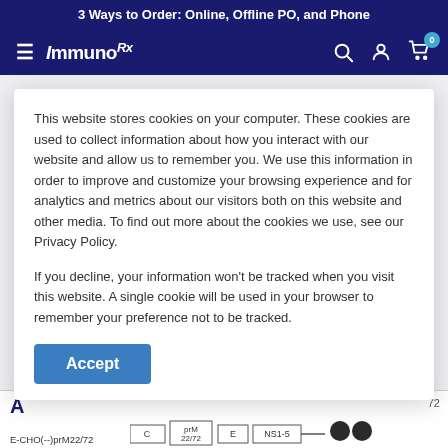3 Ways to Order: Online, Offline PO, and Phone
ImmunoDX navigation bar with logo, search, account, and cart icons
The J22V and L72S
This website stores cookies on your computer. These cookies are used to collect information about how you interact with our website and allow us to remember you. We use this information in order to improve and customize your browsing experience and for analytics and metrics about our visitors both on this website and other media. To find out more about the cookies we use, see our Privacy Policy.
If you decline, your information won't be tracked when you visit this website. A single cookie will be used in your browser to remember your preference not to be tracked.
[Figure (screenshot): Accept button for cookie consent dialog]
A
E-CHO
E-CHO(-)prM22/72